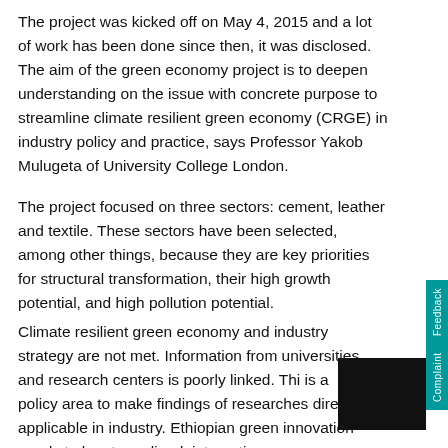The project was kicked off on May 4, 2015 and a lot of work has been done since then, it was disclosed. The aim of the green economy project is to deepen understanding on the issue with concrete purpose to streamline climate resilient green economy (CRGE) in industry policy and practice, says Professor Yakob Mulugeta of University College London.
The project focused on three sectors: cement, leather and textile. These sectors have been selected, among other things, because they are key priorities for structural transformation, their high growth potential, and high pollution potential.
Climate resilient green economy and industry strategy are not met. Information from universities and research centers is poorly linked. This is a policy area to make findings of researches directly applicable in industry. Ethiopian green innovation needs to be streamlined, interaction among innovation system actors needs to be facilitated, of economic incentives and environmental regulations be implemented